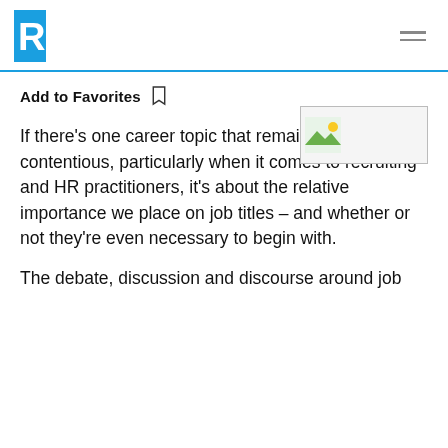R [logo] [hamburger menu]
Add to Favorites
[Figure (photo): Small thumbnail image placeholder]
If there's one career topic that remains particularly contentious, particularly when it comes to recruiting and HR practitioners, it's about the relative importance we place on job titles – and whether or not they're even necessary to begin with.
The debate, discussion and discourse around job